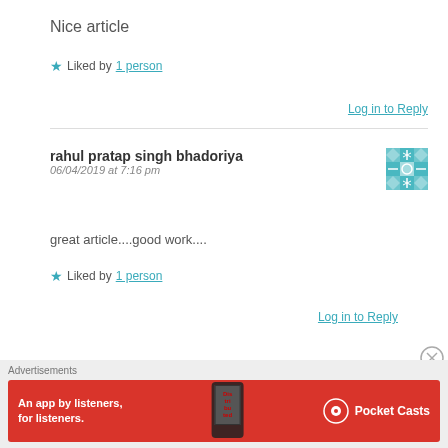Nice article
★ Liked by 1 person
Log in to Reply
rahul pratap singh bhadoriya
06/04/2019 at 7:16 pm
great article....good work....
★ Liked by 1 person
Log in to Reply
Advertisements
An app by listeners, for listeners. Pocket Casts